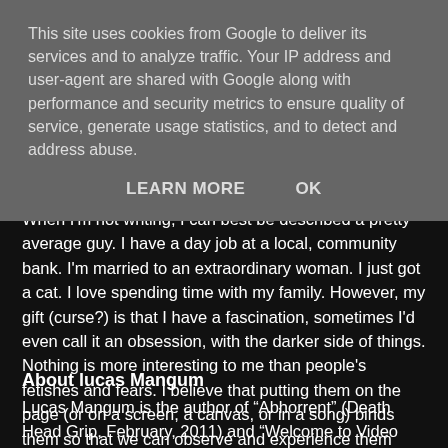This site uses cookies from Google to deliver its services and to analyze traffic. Your IP address and user-agent are shared with Google along with performance and security metrics to ensure quality of service, generate usage statistics, and to detect and address abuse.
LEARN MORE   OK
When I'm not writing, I can best be described a pretty average guy. I have a day job at a local, community bank. I'm married to an extraordinary woman. I just got a cat. I love spending time with my family. However, my gift (curse?) is that I have a fascination, sometimes I'd even call it an obsession, with the darker side of things. Nothing is more interesting to me than people's fetishes and fears. I believe that putting them on the page (or on a screen, a canvas, or in a song) binds them so that we can observe and experience them safely.
About lucas Mangum
Lucas Mangum is the author of “Abhorrent” (Death Head Grip, February, 2011) and “Welcome to Video Babylon